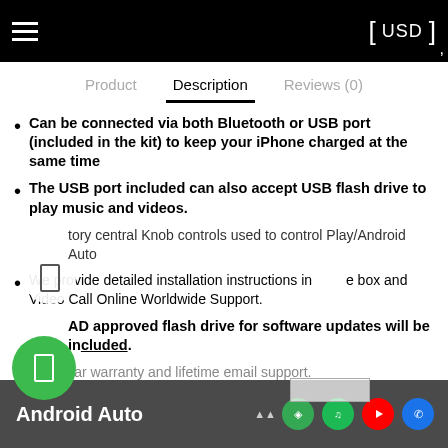≡  USD  ,
Product   Description   Reviews (0)
Can be connected via both Bluetooth or USB port (included in the kit) to keep your iPhone charged at the same time
The USB port included can also accept USB flash drive to play music and videos.
...tory central Knob controls used to control Play/Android Auto
We provide detailed installation instructions in the box and Video Call Online Worldwide Support.
AD approved flash drive for software updates will be included.
One year warranty and lifetime email support.
[Figure (screenshot): Android Auto interface screenshot showing app icons at bottom of the page]